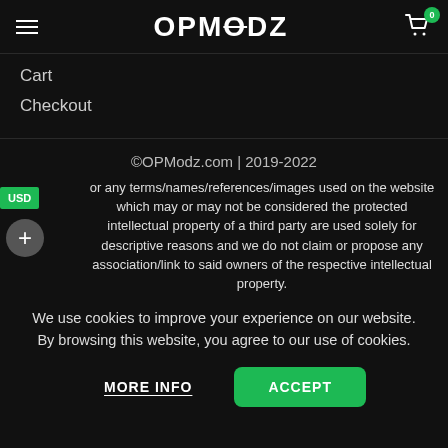OPMODZ — Cart 0
Cart
Checkout
©OPModz.com | 2019-2022
or any terms/names/references/images used on the website which may or may not be considered the protected intellectual property of a third party are used solely for descriptive reasons and we do not claim or propose any association/link to said owners of the respective intellectual property.
We use cookies to improve your experience on our website. By browsing this website, you agree to our use of cookies.
MORE INFO   ACCEPT